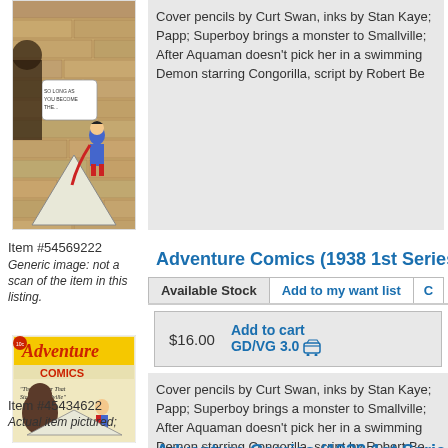[Figure (illustration): Top portion of a comic book cover showing Superboy and a monster, Adventure Comics style artwork]
Cover pencils by Curt Swan, inks by Stan Kaye; Papp; Superboy brings a monster to Smallville; After Aquaman doesn't pick her in a swimming; Demon starring Congorilla, script by Robert Be
Item #54569222
Generic image: not a scan of the item in this listing.
[Figure (illustration): Adventure Comics comic book cover showing monster stalking Smallville with Superboy]
Adventure Comics (1938 1st Series) #2
| Available Stock | Add to my want list | C |
| --- | --- | --- |
$16.00
Add to cart GD/VG 3.0
Cover pencils by Curt Swan, inks by Stan Kaye; Papp; Superboy brings a monster to Smallville; After Aquaman doesn't pick her in a swimming; Demon starring Congorilla, script by Robert Be
Item #45434622
Actual item pictured;
Adventure Comics (1938 1st Series) #2